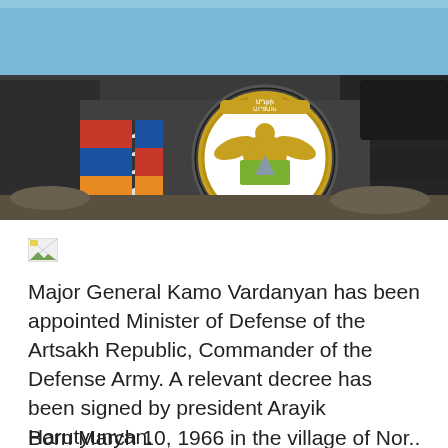[Figure (photo): Close-up photograph of military equipment (tank) with a circular Artsakh Republic coat of arms emblem and Armenian/Artsakh flags in the background, against a blue sky.]
[Figure (photo): Small broken/placeholder image icon]
Major General Kamo Vardanyan has been appointed Minister of Defense of the Artsakh Republic, Commander of the Defense Army. A relevant decree has been signed by president Arayik Harutyunyan.
Born March 10, 1966 in the village of Nor...